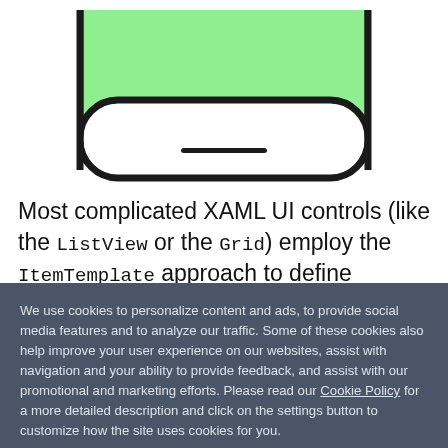[Figure (illustration): Bottom portion of a smartphone with a green screen, showing rounded corners and a home indicator bar, cropped at the top]
Most complicated XAML UI controls (like the ListView or the Grid) employ the ItemTemplate approach to define repeating UI components and their behaviors. And for all such usages in Telerik UI for Xamarin controls, you can
We use cookies to personalize content and ads, to provide social media features and to analyze our traffic. Some of these cookies also help improve your user experience on our websites, assist with navigation and your ability to provide feedback, and assist with our promotional and marketing efforts. Please read our Cookie Policy for a more detailed description and click on the settings button to customize how the site uses cookies for you.
ACCEPT COOKIES
COOKIES SETTINGS